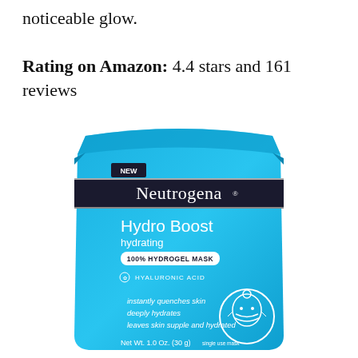noticeable glow.
Rating on Amazon: 4.4 stars and 161 reviews
[Figure (photo): Neutrogena Hydro Boost hydrating 100% Hydrogel Mask product package in blue, with text: NEW, Neutrogena, Hydro Boost hydrating, 100% HYDROGEL MASK, HYALURONIC ACID, instantly quenches skin, deeply hydrates, leaves skin supple and hydrated, Net Wt. 1.0 Oz. (30 g)]